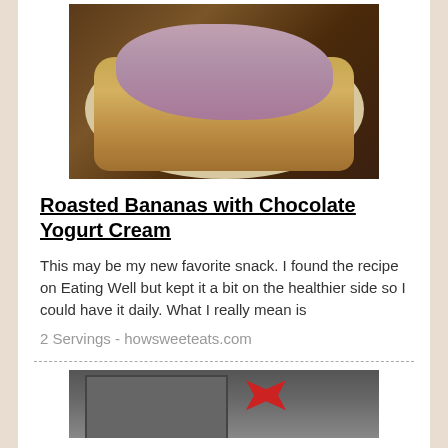[Figure (photo): Photo of roasted bananas on a white plate topped with chocolate yogurt cream]
Roasted Bananas with Chocolate Yogurt Cream
This may be my new favorite snack. I found the recipe on Eating Well but kept it a bit on the healthier side so I could have it daily. What I really mean is
2 Servings - howsweeteats.com
[Figure (photo): Photo of a baking pan with a red ribbon bow]